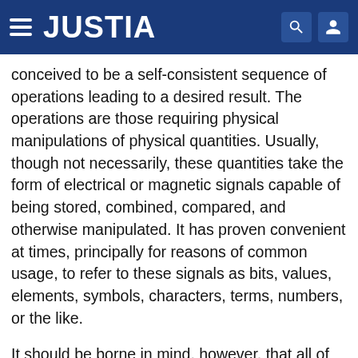JUSTIA
conceived to be a self-consistent sequence of operations leading to a desired result. The operations are those requiring physical manipulations of physical quantities. Usually, though not necessarily, these quantities take the form of electrical or magnetic signals capable of being stored, combined, compared, and otherwise manipulated. It has proven convenient at times, principally for reasons of common usage, to refer to these signals as bits, values, elements, symbols, characters, terms, numbers, or the like.
It should be borne in mind, however, that all of these and similar terms are to be associated with the appropriate physical quantities and are merely convenient labels applied to these quantities. The present disclosure can refer to the action and processes of a computer system, or similar electronic computing